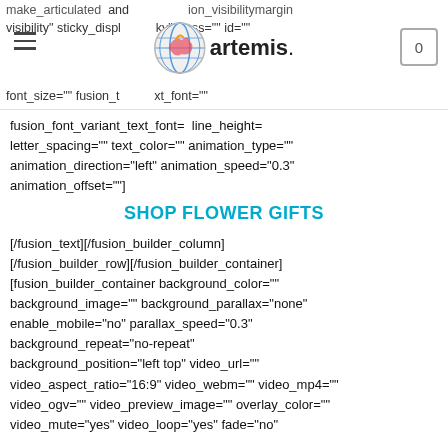make_articulated  and  ion_visibilitymargin visibility" sticky_displ  ky" class="" id="  font_size="" fusion_t  xt_font=""
[Figure (logo): Artemis logo: colorful globe icon with 'artemis.' text]
fusion_font_variant_text_font=  line_height=  letter_spacing="" text_color="" animation_type=""  animation_direction="left" animation_speed="0.3"  animation_offset=""]
SHOP FLOWER GIFTS
[/fusion_text][/fusion_builder_column]  [/fusion_builder_row][/fusion_builder_container]  [fusion_builder_container background_color=""  background_image="" background_parallax="none"  enable_mobile="no" parallax_speed="0.3"  background_repeat="no-repeat"  background_position="left top" video_url=""  video_aspect_ratio="16:9" video_webm="" video_mp4=""  video_ogv="" video_preview_image="" overlay_color=""  video_mute="yes" video_loop="yes" fade="no"